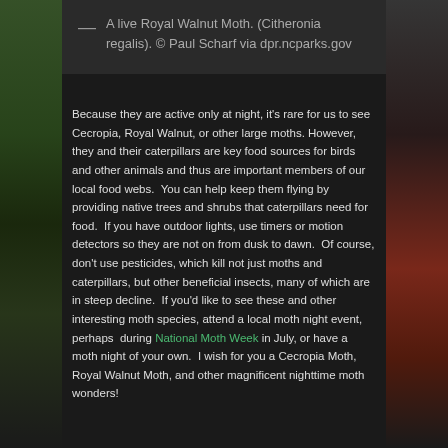— A live Royal Walnut Moth. (Citheronia regalis). © Paul Scharf via dpr.ncparks.gov
Because they are active only at night, it's rare for us to see Cecropia, Royal Walnut, or other large moths. However, they and their caterpillars are key food sources for birds and other animals and thus are important members of our local food webs.  You can help keep them flying by providing native trees and shrubs that caterpillars need for food.  If you have outdoor lights, use timers or motion detectors so they are not on from dusk to dawn.  Of course, don't use pesticides, which kill not just moths and caterpillars, but other beneficial insects, many of which are in steep decline.  If you'd like to see these and other interesting moth species, attend a local moth night event, perhaps  during National Moth Week in July, or have a moth night of your own.  I wish for you a Cecropia Moth, Royal Walnut Moth, and other magnificent nighttime moth wonders!